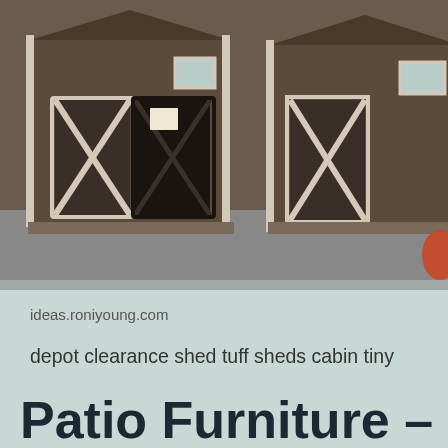[Figure (photo): Brown wooden storage sheds with white trim and X-cross door panels displayed outdoors on a parking lot surface]
ideas.roniyoung.com
depot clearance shed tuff sheds cabin tiny
Patio Furniture – Outdoors – The Home Depot | Patio Design, Outdoor